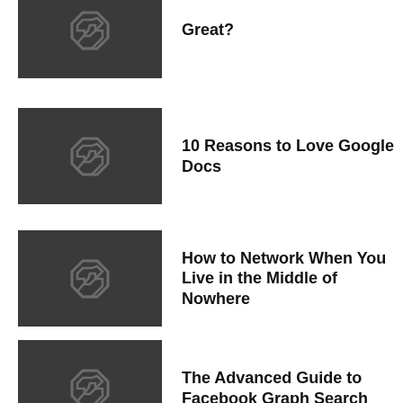[Figure (logo): Dark thumbnail with stylized S logo - partial item at top]
Great?
[Figure (logo): Dark thumbnail with stylized S logo]
10 Reasons to Love Google Docs
[Figure (logo): Dark thumbnail with stylized S logo]
How to Network When You Live in the Middle of Nowhere
[Figure (logo): Dark thumbnail with stylized S logo]
The Advanced Guide to Facebook Graph Search